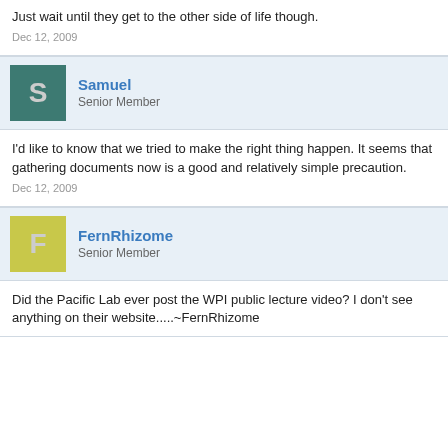Just wait until they get to the other side of life though.
Dec 12, 2009
Samuel
Senior Member
I'd like to know that we tried to make the right thing happen. It seems that gathering documents now is a good and relatively simple precaution.
Dec 12, 2009
FernRhizome
Senior Member
Did the Pacific Lab ever post the WPI public lecture video? I don't see anything on their website.....~FernRhizome